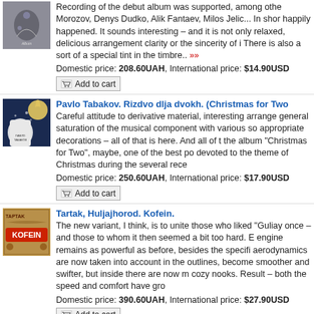[Figure (photo): Album cover image - dark floral/artistic design]
Recording of the debut album was supported, among othe Morozov, Denys Dudko, Alik Fantaev, Milos Jelic... In shor happily happened. It sounds interesting – and it is not only relaxed, delicious arrangement clarity or the sincerity of i There is also a sort of a special tint in the timbre..
Domestic price: 208.60UAH, International price: $14.90USD
Add to cart
[Figure (photo): Album cover - Pavlo Tabakov Christmas for Two, man with lights and moon]
Pavlo Tabakov. Rizdvo dlja dvokh. (Christmas for Two
Careful attitude to derivative material, interesting arrange general saturation of the musical component with various so appropriate decorations – all of that is here. And all of the album "Christmas for Two", maybe, one of the best po devoted to the theme of Christmas during the several rece
Domestic price: 250.60UAH, International price: $17.90USD
Add to cart
[Figure (photo): Album cover - Tartak Kofein, dark illustrated style with KOFEIN text]
Tartak, Huljajhorod. Kofein.
The new variant, I think, is to unite those who liked "Guliay once – and those to whom it then seemed a bit too hard. E engine remains as powerful as before, besides the specifi aerodynamics are now taken into account in the outlines, become smoother and swifter, but inside there are now m cozy nooks. Result – both the speed and comfort have gro
Domestic price: 390.60UAH, International price: $27.90USD
Add to cart
[Figure (photo): Album cover - Ukrainian Barvy Vinochok Diadem]
Ukrainian Barvy. Vinochok. (Diadem)